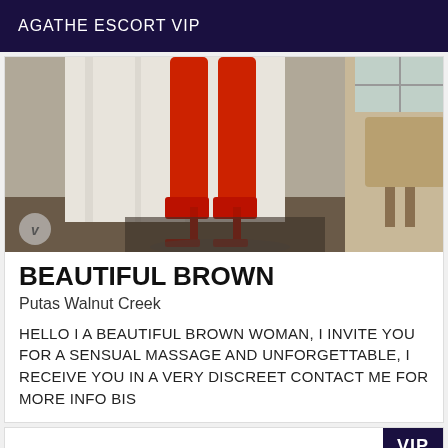AGATHE ESCORT VIP
[Figure (photo): Photo showing legs of a woman in red pants and red high heels standing in front of white curtains, with furniture visible on the right side]
BEAUTIFUL BROWN
Putas Walnut Creek
HELLO I A BEAUTIFUL BROWN WOMAN, I INVITE YOU FOR A SENSUAL MASSAGE AND UNFORGETTABLE, I RECEIVE YOU IN A VERY DISCREET CONTACT ME FOR MORE INFO BIS
VIP